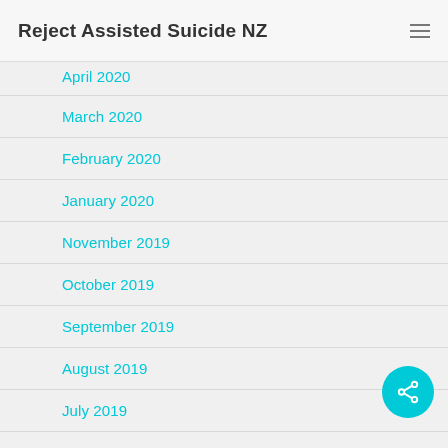Reject Assisted Suicide NZ
April 2020
March 2020
February 2020
January 2020
November 2019
October 2019
September 2019
August 2019
July 2019
June 2019